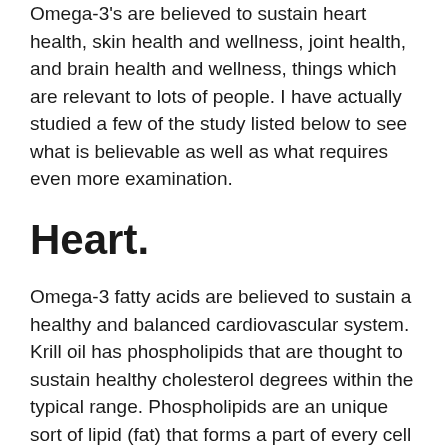Omega-3's are believed to sustain heart health, skin health and wellness, joint health, and brain health and wellness, things which are relevant to lots of people. I have actually studied a few of the study listed below to see what is believable as well as what requires even more examination.
Heart.
Omega-3 fatty acids are believed to sustain a healthy and balanced cardiovascular system. Krill oil has phospholipids that are thought to sustain healthy cholesterol degrees within the typical range. Phospholipids are an unique sort of lipid (fat) that forms a part of every cell membrane